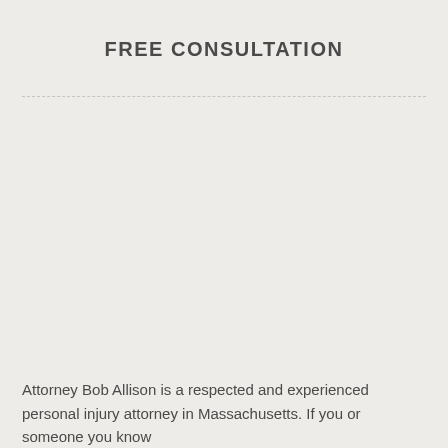FREE CONSULTATION
Attorney Bob Allison is a respected and experienced personal injury attorney in Massachusetts. If you or someone you know